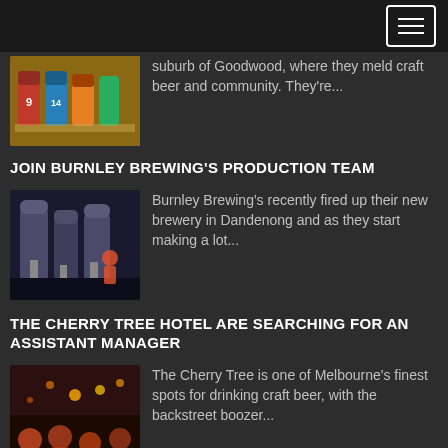[navigation menu button]
suburb of Goodwood, where they meld craft beer and community.  They're...
JOIN BURNLEY BREWING'S PRODUCTION TEAM
[Figure (photo): Industrial brewery equipment, large silver tanks in a modern brewery]
Burnley Brewing's recently fired up their new brewery in Dandenong and as they start making a lot...
THE CHERRY TREE HOTEL ARE SEARCHING FOR AN ASSISTANT MANAGER
[Figure (photo): Busy pub/bar interior with warm orange lighting and crowd]
The Cherry Tree is one of Melbourne's finest spots for drinking craft beer, with the backstreet boozer...
STAY IN TOUCH!
[Figure (infographic): Social media icons: Facebook, Twitter, Instagram, Vimeo - all in orange/red rounded square buttons]